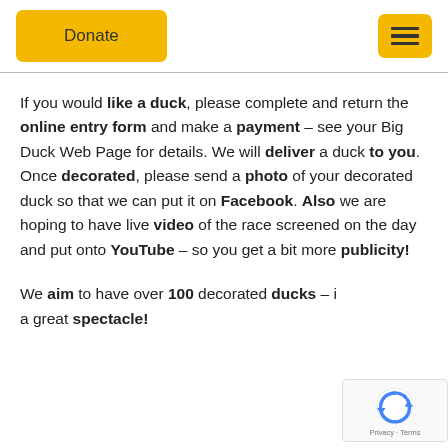Donate  [menu icon]
If you would like a duck, please complete and return the online entry form and make a payment – see your Big Duck Web Page for details. We will deliver a duck to you. Once decorated, please send a photo of your decorated duck so that we can put it on Facebook. Also we are hoping to have live video of the race screened on the day and put onto YouTube – so you get a bit more publicity!
We aim to have over 100 decorated ducks – i a great spectacle!
[Figure (logo): reCAPTCHA badge with circular arrow logo and Privacy · Terms text]